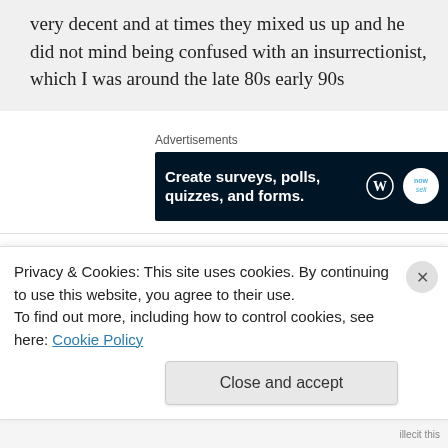very decent and at times they mixed us up and he did not mind being confused with an insurrectionist, which I was around the late 80s early 90s
Advertisements
[Figure (other): Advertisement banner: Create surveys, polls, quizzes, and forms. WordPress and Now Sell logos.]
Mitra Hedman on November 29, 2013 at 7:59 am
Privacy & Cookies: This site uses cookies. By continuing to use this website, you agree to their use.
To find out more, including how to control cookies, see here: Cookie Policy
Close and accept